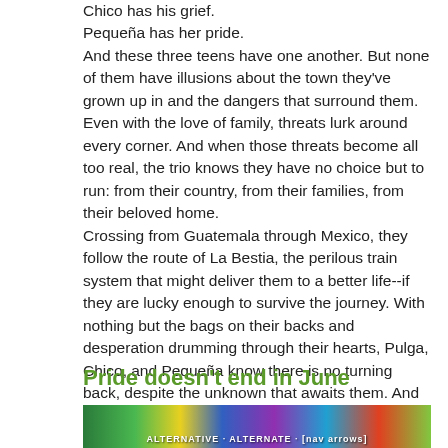Chico has his grief. Pequeña has her pride. And these three teens have one another. But none of them have illusions about the town they've grown up in and the dangers that surround them. Even with the love of family, threats lurk around every corner. And when those threats become all too real, the trio knows they have no choice but to run: from their country, from their families, from their beloved home. Crossing from Guatemala through Mexico, they follow the route of La Bestia, the perilous train system that might deliver them to a better life--if they are lucky enough to survive the journey. With nothing but the bags on their backs and desperation drumming through their hearts, Pulga, Chico, and Pequeña know there is no turning back, despite the unknown that awaits them. And the darkness that seems to follow wherever they go. Available on Hoopla.
Pride doesn't end in June
[Figure (illustration): A colorful horizontal banner image with rainbow/pride colors including greens, yellows, blues, purples, and reds with small white text overlay at the bottom.]